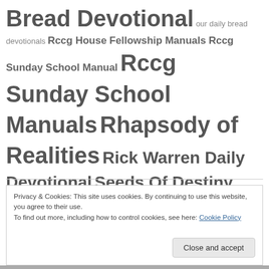Bread Devotional our daily bread devotionals Rccg House Fellowship Manuals Rccg Sunday School Manual Rccg Sunday School Manuals Rhapsody of Realities Rick Warren Daily Devotional Seeds Of Destiny Daily Devotional Seek Daily Devotional Spirit Meat Devotional UCB Word for today
Privacy & Cookies: This site uses cookies. By continuing to use this website, you agree to their use. To find out more, including how to control cookies, see here: Cookie Policy
Close and accept